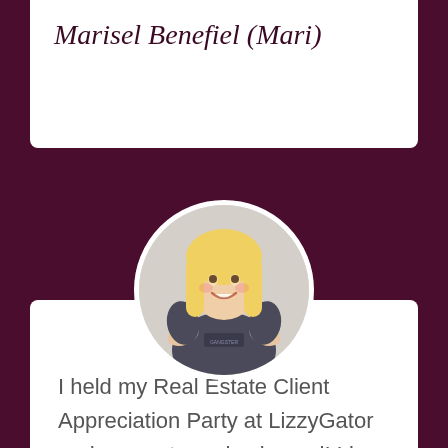Marisel Benefiel (Mari)
[Figure (photo): Circular profile photo of a blonde woman wearing a dark gray t-shirt with hands on hips, smiling]
I held my Real Estate Client Appreciation Party at LizzyGator and was extremely pleased! Liz and Chris went above and